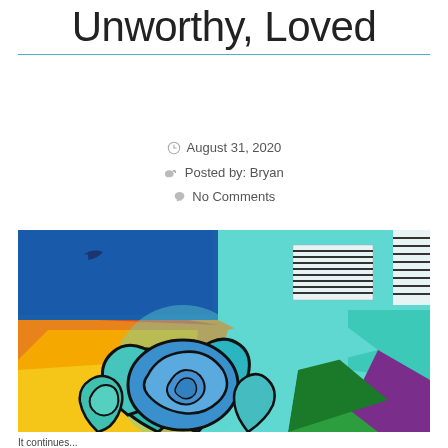Unworthy, Loved
August 31, 2020
Posted by: Bryan
No Comments
[Figure (photo): Colorful mural featuring a large blue rose in the foreground with geometric shapes in blue, teal, orange, yellow, green, and purple in the background. A dark bird silhouette appears in the upper left corner. Ventilation grilles visible on right side.]
It continues...